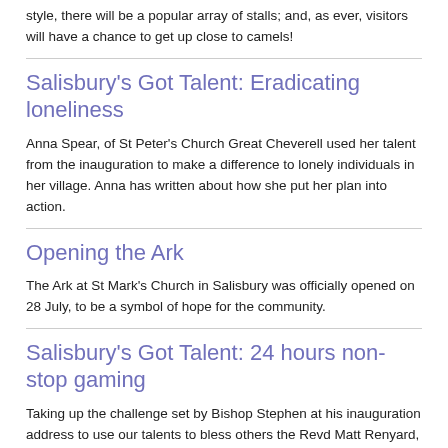style, there will be a popular array of stalls; and, as ever, visitors will have a chance to get up close to camels!
Salisbury's Got Talent: Eradicating loneliness
Anna Spear, of St Peter's Church Great Cheverell used her talent from the inauguration to make a difference to lonely individuals in her village. Anna has written about how she put her plan into action.
Opening the Ark
The Ark at St Mark's Church in Salisbury was officially opened on 28 July, to be a symbol of hope for the community.
Salisbury's Got Talent: 24 hours non-stop gaming
Taking up the challenge set by Bishop Stephen at his inauguration address to use our talents to bless others the Revd Matt Renyard, Curate